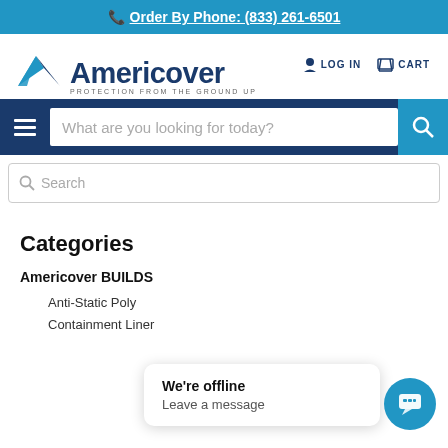Order By Phone: (833) 261-6501
[Figure (logo): Americover logo with blue mountain/rooftop icon and dark blue wordmark, tagline PROTECTION FROM THE GROUND UP]
LOG IN   CART
What are you looking for today?
Search
Categories
Americover BUILDS
Anti-Static Poly
Containment Liner
We're offline
Leave a message